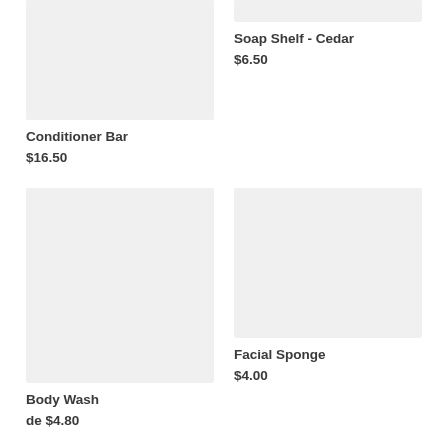[Figure (photo): Product image placeholder for Conditioner Bar - light gray rectangle]
Conditioner Bar
$16.50
[Figure (photo): Product image placeholder for Soap Shelf Cedar - light gray rectangle]
Soap Shelf - Cedar
$6.50
[Figure (photo): Product image placeholder for Body Wash - light gray rectangle]
Body Wash
de $4.80
[Figure (photo): Product image placeholder for Facial Sponge - light gray rectangle]
Facial Sponge
$4.00